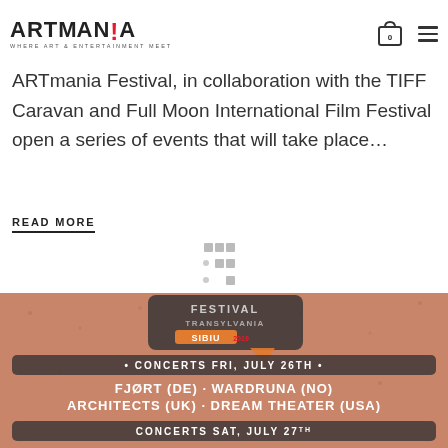ARTmania - WHERE ART & ENTERTAINMENT MEET
ARTmania Festival, in collaboration with the TIFF Caravan and Full Moon International Film Festival open a series of events that will take place…
READ MORE
[Figure (photo): ARTmania festival event poster with terracotta/salmon background. Shows festival bubble logo with 'FESTIVAL TRANSYLVANIA SIBIU 2019', concert schedule: CONCERTS FRI. JULY 26TH - FJORT (DE) · WARDRUNA (NO) ARCHITECTS (UK) · DREAM THEATER (USA), and CONCERTS SAT. JULY 27TH at bottom.]